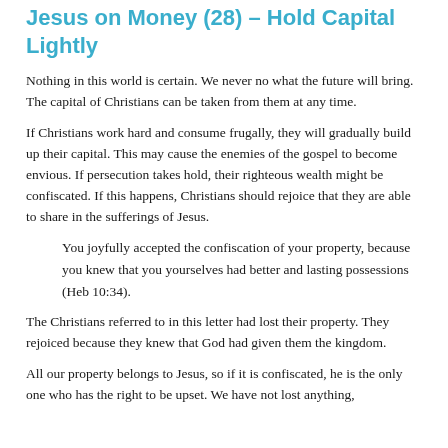Jesus on Money (28) – Hold Capital Lightly
Nothing in this world is certain. We never no what the future will bring. The capital of Christians can be taken from them at any time.
If Christians work hard and consume frugally, they will gradually build up their capital. This may cause the enemies of the gospel to become envious. If persecution takes hold, their righteous wealth might be confiscated. If this happens, Christians should rejoice that they are able to share in the sufferings of Jesus.
You joyfully accepted the confiscation of your property, because you knew that you yourselves had better and lasting possessions (Heb 10:34).
The Christians referred to in this letter had lost their property. They rejoiced because they knew that God had given them the kingdom.
All our property belongs to Jesus, so if it is confiscated, he is the only one who has the right to be upset. We have not lost anything,